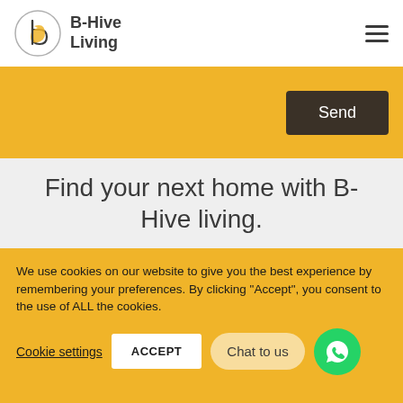[Figure (logo): B-Hive Living logo — circular icon with 'b' shape and yellow/grey styling, next to bold text 'B-Hive Living']
[Figure (other): Hamburger menu icon (three horizontal lines)]
[Figure (other): Yellow banner with a dark 'Send' button on the right]
Find your next home with B-Hive living.
We use cookies on our website to give you the best experience by remembering your preferences. By clicking "Accept", you consent to the use of ALL the cookies.
Cookie settings
ACCEPT
Chat to us